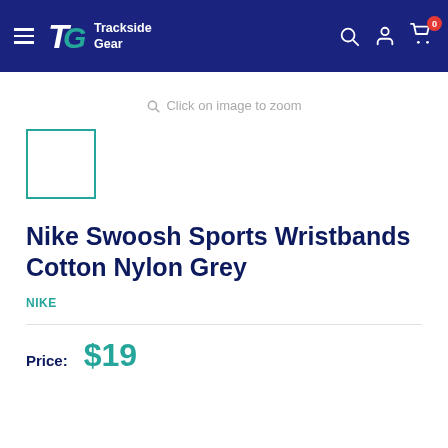Trackside Gear
Click on image to zoom
[Figure (other): Small product thumbnail placeholder with teal border]
Nike Swoosh Sports Wristbands Cotton Nylon Grey
NIKE
Price: $19